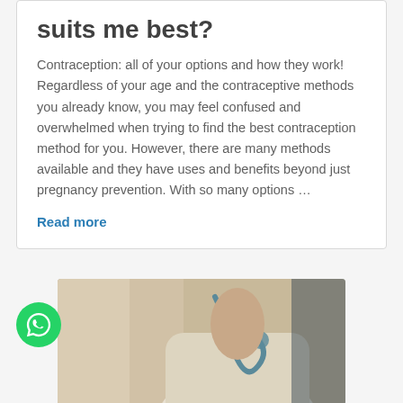suits me best?
Contraception: all of your options and how they work! Regardless of your age and the contraceptive methods you already know, you may feel confused and overwhelmed when trying to find the best contraception method for you. However, there are many methods available and they have uses and benefits beyond just pregnancy prevention. With so many options …
Read more
[Figure (photo): A person wearing medical attire with a stethoscope, partial view showing torso and neck area]